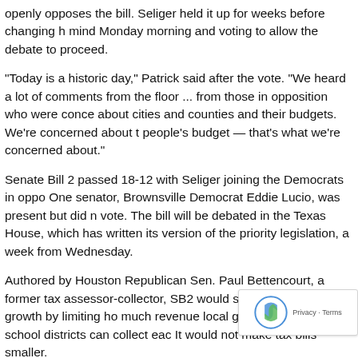openly opposes the bill. Seliger held it up for weeks before changing his mind Monday morning and voting to allow the debate to proceed.
"Today is a historic day," Patrick said after the vote. "We heard a lot of comments from the floor ... from those in opposition who were concerned about cities and counties and their budgets. We're concerned about the people's budget — that's what we're concerned about."
Senate Bill 2 passed 18-12 with Seliger joining the Democrats in opposition. One senator, Brownsville Democrat Eddie Lucio, was present but did not vote. The bill will be debated in the Texas House, which has written its own version of the priority legislation, a week from Wednesday.
Authored by Houston Republican Sen. Paul Bettencourt, a former tax assessor-collector, SB2 would slow property tax growth by limiting how much revenue local governments and school districts can collect each year. It would not make tax bills smaller.
SB2, which was changed on the Senate floor Monday, caps property tax revenue growth for counties, cities and special taxing districts at 3.5% a year, up from 2.5% in the original version. School districts would be capped at 2.5% a year; however, they are getting a boost of funding under separate legislation this session.